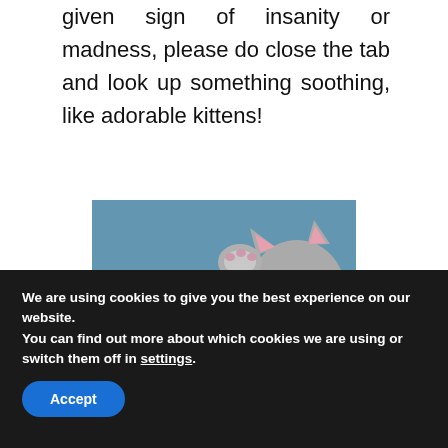given sign of insanity or madness, please do close the tab and look up something soothing, like adorable kittens!
[Figure (photo): A cute tabby kitten sleeping on its back, cuddling with a small stuffed toy mouse, on a blue background.]
We are using cookies to give you the best experience on our website.
You can find out more about which cookies we are using or switch them off in settings.
Accept